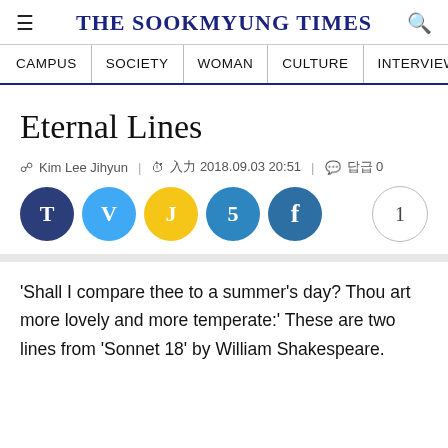THE SOOKMYUNG TIMES
Eternal Lines
Kim Lee Jihyun  |  입력 2018.09.03 20:51  |  댓글 0
'Shall I compare thee to a summer's day?  Thou art more lovely and more temperate:'  These are two lines from 'Sonnet 18' by William Shakespeare.